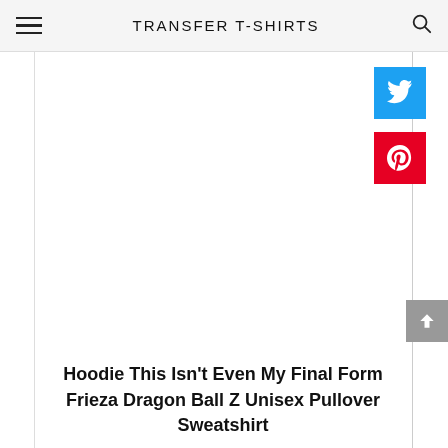TRANSFER T-SHIRTS
[Figure (screenshot): White blank product image area with left and right border lines, Twitter and Pinterest social share buttons on the right side, and a back-to-top arrow button]
Hoodie This Isn't Even My Final Form Frieza Dragon Ball Z Unisex Pullover Sweatshirt